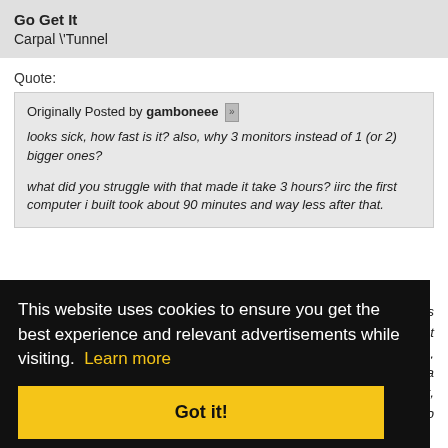Go Get It
Carpal \'Tunnel
Quote:
Originally Posted by gamboneee [»]
looks sick, how fast is it? also, why 3 monitors instead of 1 (or 2) bigger ones?

what did you struggle with that made it take 3 hours? iirc the first computer i built took about 90 minutes and way less after that.
was
that
one,
to a
nt,
web
browser open then spotify on a 2nd monitor and, now that I
This website uses cookies to ensure you get the best experience and relevant advertisements while visiting. Learn more
Got it!